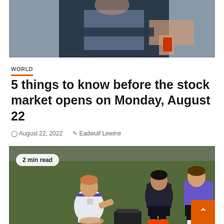[Figure (photo): Top portion of a photo showing a person in dark jacket with arms crossed, holding a phone]
WORLD
5 things to know before the stock market opens on Monday, August 22
August 22, 2022  Eadwulf Lewine
[Figure (photo): Photo of a footballer in white kit sitting on grass being attended to by two staff members in purple/dark shirts, badge reading '2 min read' overlaid top-left]